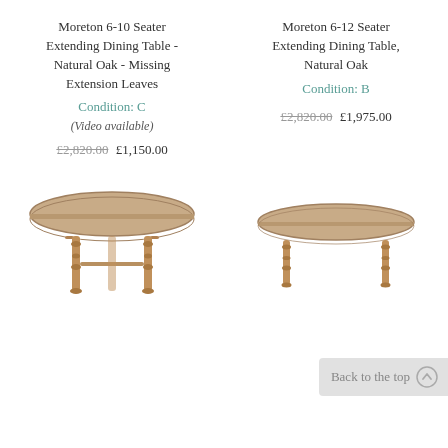Moreton 6-10 Seater Extending Dining Table - Natural Oak - Missing Extension Leaves
Condition: C
(Video available)
£2,820.00 £1,150.00
Moreton 6-12 Seater Extending Dining Table, Natural Oak
Condition: B
£2,820.00 £1,975.00
[Figure (photo): Oval wooden dining table with turned legs, natural oak finish]
[Figure (photo): Oval wooden dining table with turned legs, natural oak finish, smaller view]
Back to the top